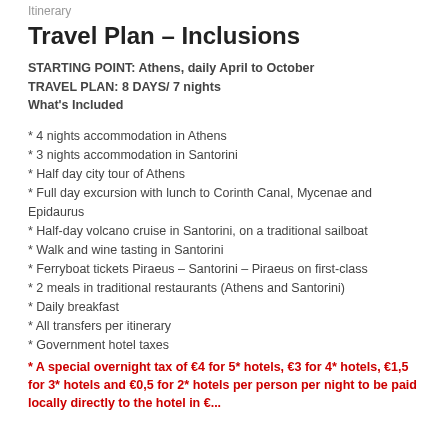Itinerary
Travel Plan – Inclusions
STARTING POINT: Athens, daily April to October
TRAVEL PLAN: 8 DAYS/ 7 nights
What's Included
* 4 nights accommodation in Athens
* 3 nights accommodation in Santorini
* Half day city tour of Athens
* Full day excursion with lunch to Corinth Canal, Mycenae and Epidaurus
* Half-day volcano cruise in Santorini, on a traditional sailboat
* Walk and wine tasting in Santorini
* Ferryboat tickets Piraeus – Santorini – Piraeus on first-class
* 2 meals in traditional restaurants (Athens and Santorini)
* Daily breakfast
* All transfers per itinerary
* Government hotel taxes
* A special overnight tax of €4 for 5* hotels, €3 for 4* hotels, €1,5 for 3* hotels and €0,5 for 2* hotels per person per night to be paid locally directly to the hotel in €...